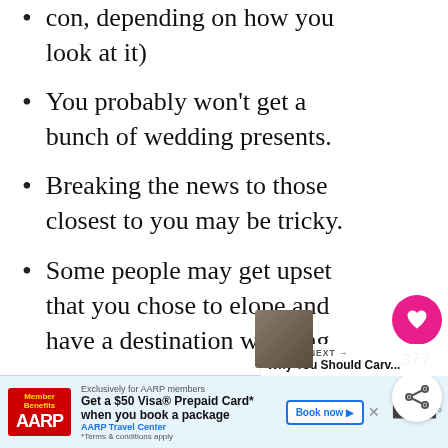con, depending on how you look at it)
You probably won't get a bunch of wedding presents.
Breaking the news to those closest to you may be tricky.
Some people may get upset that you chose to elope and have a destination wedding.
Your friends will be jealous.
There is more paperwork and bureaucratic red tape than a typical wedding, such as applying for visas.